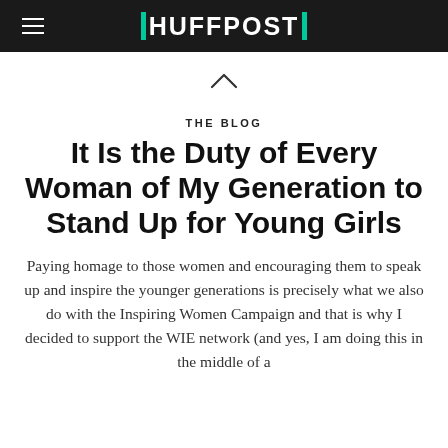HUFFPOST
[Figure (other): Upward chevron / caret icon indicating scroll up]
THE BLOG
It Is the Duty of Every Woman of My Generation to Stand Up for Young Girls
Paying homage to those women and encouraging them to speak up and inspire the younger generations is precisely what we also do with the Inspiring Women Campaign and that is why I decided to support the WIE network (and yes, I am doing this in the middle of a